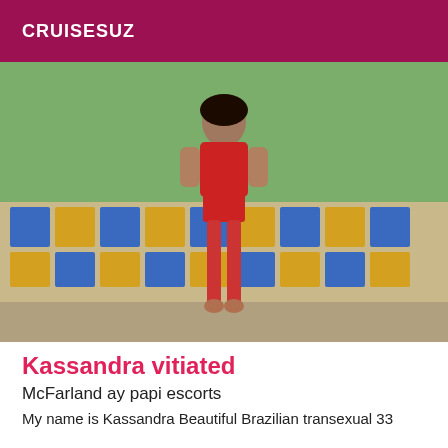CRUISESUZ
[Figure (photo): Person wearing red lingerie and stockings standing outdoors next to a decorative tiled wall with blue and yellow mosaic tiles, green lawn visible in background.]
Kassandra vitiated
McFarland ay papi escorts
My name is Kassandra Beautiful Brazilian transexual 33